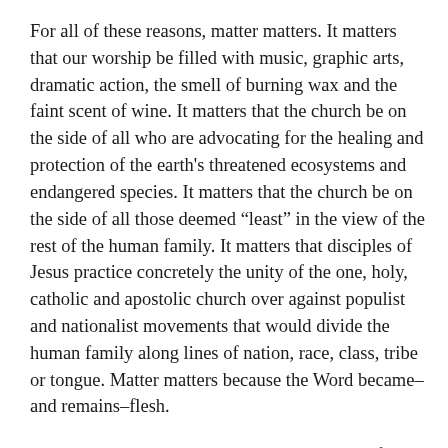For all of these reasons, matter matters. It matters that our worship be filled with music, graphic arts, dramatic action, the smell of burning wax and the faint scent of wine. It matters that the church be on the side of all who are advocating for the healing and protection of the earth's threatened ecosystems and endangered species. It matters that the church be on the side of all those deemed “least” in the view of the rest of the human family. It matters that disciples of Jesus practice concretely the unity of the one, holy, catholic and apostolic church over against populist and nationalist movements that would divide the human family along lines of nation, race, class, tribe or tongue. Matter matters because the Word became–and remains–flesh.
Here is the poem by John Updike to which I referred above.